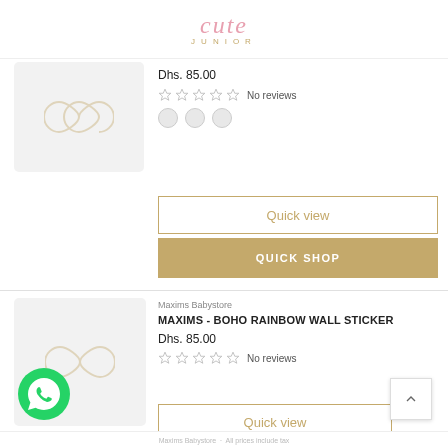[Figure (logo): Cute Junior logo with pink script text and gold JUNIOR lettering]
Dhs. 85.00
No reviews
Quick view
QUICK SHOP
Maxims Babystore
MAXIMS - BOHO RAINBOW WALL STICKER
Dhs. 85.00
No reviews
Quick view